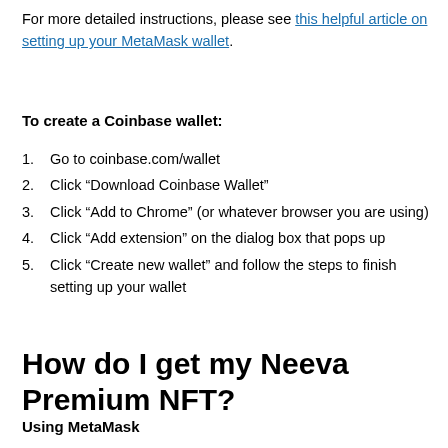For more detailed instructions, please see this helpful article on setting up your MetaMask wallet.
To create a Coinbase wallet:
1. Go to coinbase.com/wallet
2. Click “Download Coinbase Wallet”
3. Click “Add to Chrome” (or whatever browser you are using)
4. Click “Add extension” on the dialog box that pops up
5. Click “Create new wallet” and follow the steps to finish setting up your wallet
How do I get my Neeva Premium NFT?
Using MetaMask